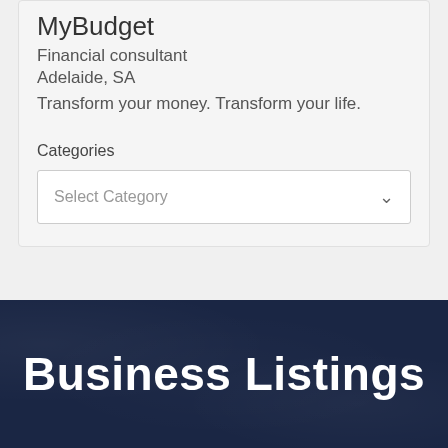MyBudget
Financial consultant
Adelaide, SA
Transform your money. Transform your life.
Categories
Select Category
Business Listings